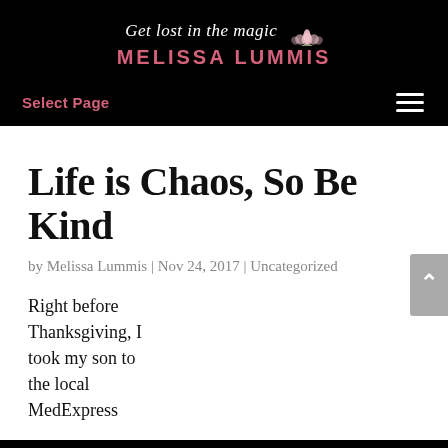Get lost in the magic MELISSA LUMMIS
Select Page
Life is Chaos, So Be Kind
by Melissa Lummis | Nov 24, 2017 | Uncategorized
Right before Thanksgiving, I took my son to the local MedExpress